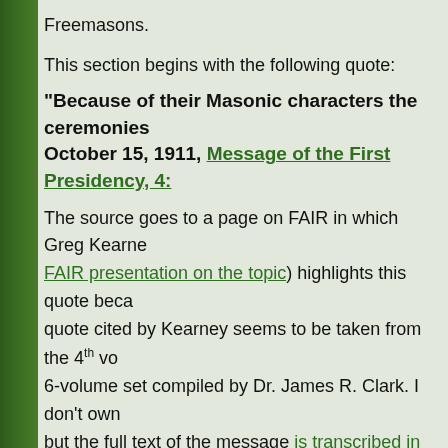Freemasons.
This section begins with the following quote:
“Because of their Masonic characters the ceremonies October 15, 1911, Message of the First Presidency, 4:
The source goes to a page on FAIR in which Greg Kearne FAIR presentation on the topic) highlights this quote beca quote cited by Kearney seems to be taken from the 4th vo 6-volume set compiled by Dr. James R. Clark. I don’t own but the full text of the message is transcribed in the comm
It’s fairly lengthy, but the full paragraph containing this que the ceremonies of the temple are sacred and not for the p asserted, nor in their performance is there the slightest de the building are halls, corridors, reception rooms, offices